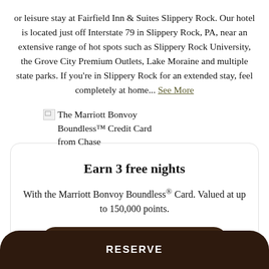or leisure stay at Fairfield Inn & Suites Slippery Rock. Our hotel is located just off Interstate 79 in Slippery Rock, PA, near an extensive range of hot spots such as Slippery Rock University, the Grove City Premium Outlets, Lake Moraine and multiple state parks. If you're in Slippery Rock for an extended stay, feel completely at home... See More
[Figure (other): Broken image placeholder followed by text: The Marriott Bonvoy Boundless™ Credit Card from Chase]
Earn 3 free nights
With the Marriott Bonvoy Boundless® Card. Valued at up to 150,000 points.
RESERVE